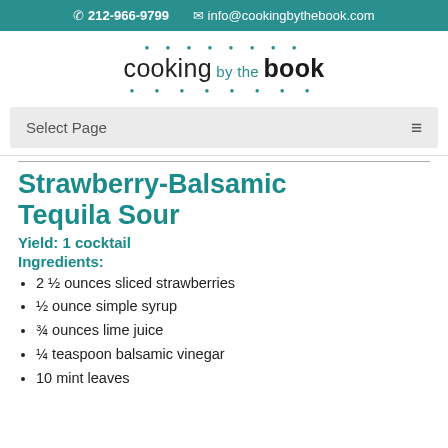212-966-9799  info@cookingbythebook.com
[Figure (logo): Cooking by the Book logo with teal dot decorations above and below the text]
Select Page
Strawberry-Balsamic Tequila Sour
Yield: 1 cocktail
Ingredients:
2 ½ ounces sliced strawberries
½ ounce simple syrup
¾ ounces lime juice
¼ teaspoon balsamic vinegar
10 mint leaves